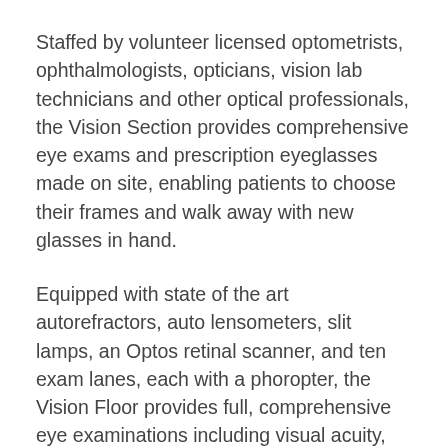Staffed by volunteer licensed optometrists, ophthalmologists, opticians, vision lab technicians and other optical professionals, the Vision Section provides comprehensive eye exams and prescription eyeglasses made on site, enabling patients to choose their frames and walk away with new glasses in hand.
Equipped with state of the art autorefractors, auto lensometers, slit lamps, an Optos retinal scanner, and ten exam lanes, each with a phoropter, the Vision Floor provides full, comprehensive eye examinations including visual acuity, power of existing eyeglasses recorded, auto refraction, subjective refraction, intraocular pressure, slit lamp exam for ocular health assessment and pathology.
After receiving their exam, patients then head to the Dispensing area to select their frames. Stocked with